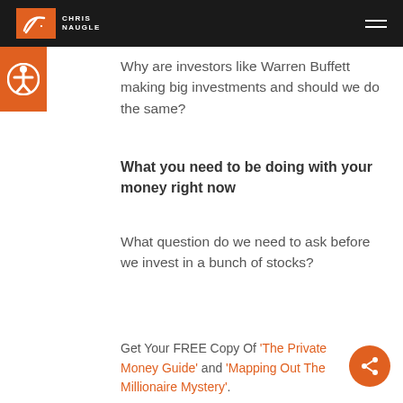Chris Naugle
Why are investors like Warren Buffett making big investments and should we do the same?
What you need to be doing with your money right now
What question do we need to ask before we invest in a bunch of stocks?
Get Your FREE Copy Of 'The Private Money Guide'  and 'Mapping Out The Millionaire Mystery'.